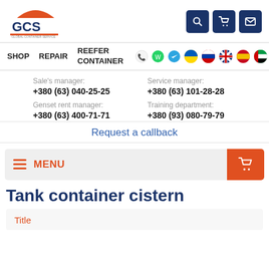[Figure (logo): GCS Global Container Service logo with orange arc/tent graphic above blue GCS letters and red underline]
SHOP   REPAIR   REEFER CONTAINER
Sale's manager:
+380 (63) 040-25-25
Genset rent manager:
+380 (63) 400-71-71
Service manager:
+380 (63) 101-28-28
Training department:
+380 (93) 080-79-79
Request a callback
MENU
Tank container cistern
| Title |
| --- |